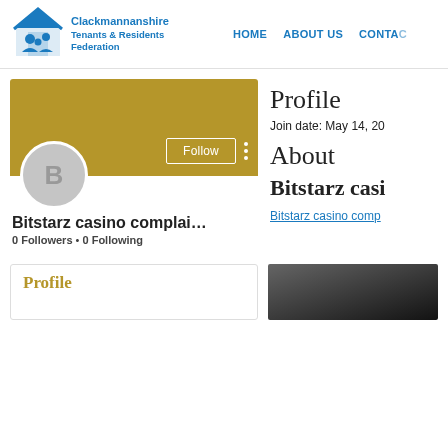[Figure (logo): Clackmannanshire Tenants & Residents Federation logo with house icon and family silhouette]
HOME   ABOUT US   CONTACT
[Figure (screenshot): User profile banner in golden/olive color with Follow button and three-dot menu, avatar circle with letter B]
Bitstarz casino complai…
0 Followers • 0 Following
Profile
Join date: May 14, 20
About
Bitstarz casi
Bitstarz casino comp
Profile
[Figure (photo): Blurred/dark image thumbnail]